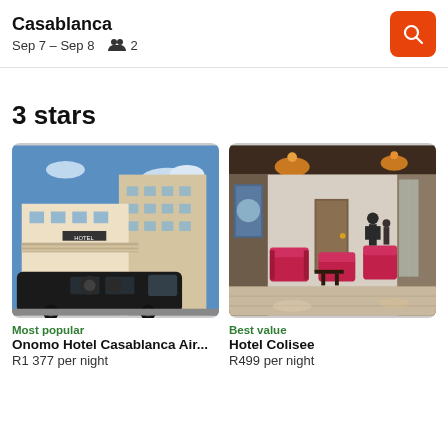Casablanca
Sep 7 – Sep 8   2
3 stars
[Figure (photo): Hotel exterior photo of Onomo Hotel Casablanca Airport with a dark van parked in front of a modern white building]
Most popular
Onomo Hotel Casablanca Air...
R1 377 per night
[Figure (photo): Hotel interior photo of Hotel Colisee showing a corridor with pink lounge chairs and warm ceiling lights]
Best value
Hotel Colisee
R499 per night